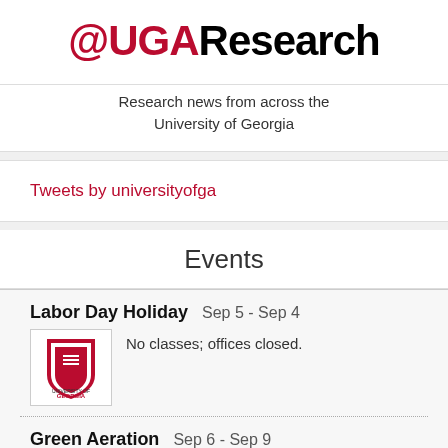@UGA Research
Research news from across the University of Georgia
Tweets by universityofga
Events
Labor Day Holiday  Sep 5 - Sep 4
No classes; offices closed.
Green Aeration  Sep 6 - Sep 9
Golf course closed. Range open normal hours.